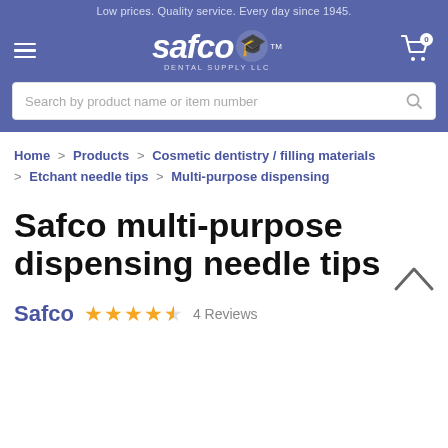Low prices. Quality service. Every day since 1945.
[Figure (logo): Safco Dental Supply LLC logo with mascot icon and TM mark on purple/blue background]
Search by product name or item number
Home > Products > Cosmetic dentistry / filling materials > Etchant needle tips > Multi-purpose dispensing
Safco multi-purpose dispensing needle tips
Safco ★★★★½ 4 Reviews